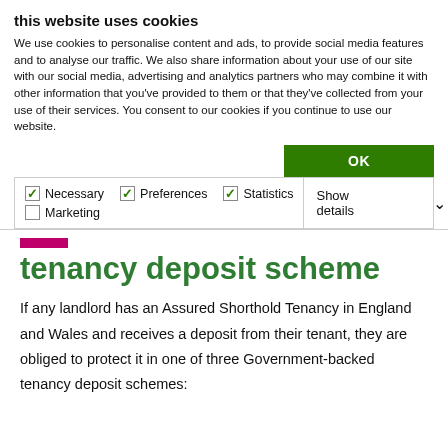this website uses cookies
We use cookies to personalise content and ads, to provide social media features and to analyse our traffic. We also share information about your use of our site with our social media, advertising and analytics partners who may combine it with other information that you've provided to them or that they've collected from your use of their services. You consent to our cookies if you continue to use our website.
OK
| Necessary | Preferences | Statistics | Show details |
| Marketing |  |  |  |
tenancy deposit scheme
If any landlord has an Assured Shorthold Tenancy in England and Wales and receives a deposit from their tenant, they are obliged to protect it in one of three Government-backed tenancy deposit schemes: